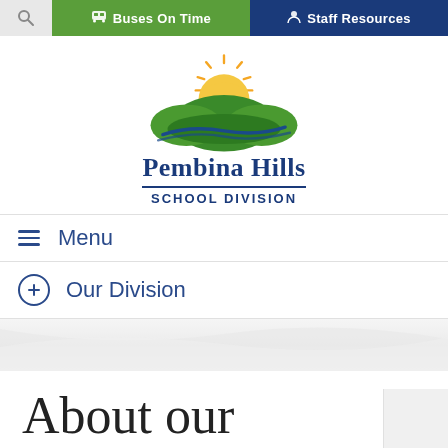Buses On Time | Staff Resources
[Figure (logo): Pembina Hills School Division logo with green hills, blue wave, and rising sun]
Menu
Our Division
About our communities